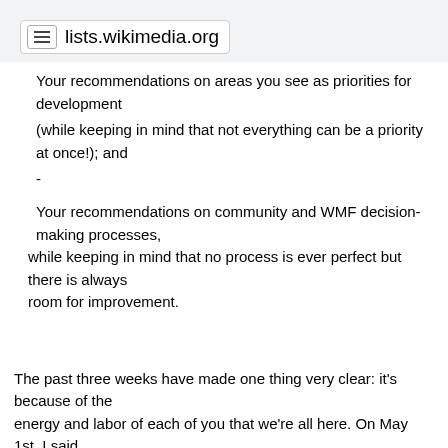lists.wikimedia.org
Your recommendations on areas you see as priorities for development
(while keeping in mind that not everything can be a priority at once!); and
-
Your recommendations on community and WMF decision-making processes,
   while keeping in mind that no process is ever perfect but there is always
   room for improvement.
The past three weeks have made one thing very clear: it's because of the energy and labor of each of you that we're all here. On May 1st, I said that this was big in every way. The last three weeks have